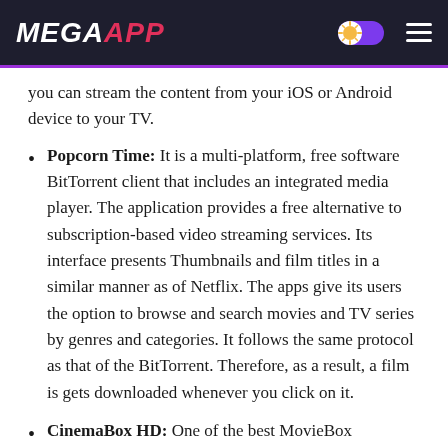MEGAAPP
you can stream the content from your iOS or Android device to your TV.
Popcorn Time: It is a multi-platform, free software BitTorrent client that includes an integrated media player. The application provides a free alternative to subscription-based video streaming services. Its interface presents Thumbnails and film titles in a similar manner as of Netflix. The apps give its users the option to browse and search movies and TV series by genres and categories. It follows the same protocol as that of the BitTorrent. Therefore, as a result, a film is gets downloaded whenever you click on it.
CinemaBox HD: One of the best MovieBox alternatives is Cinema Box HD. It enables its users to watch thousands and thousands of Movies and TV series in high definition. It does